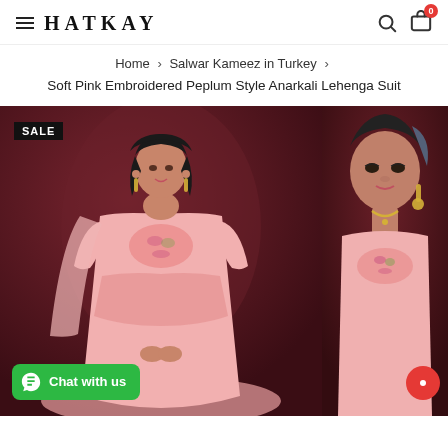HATKAY
Home › Salwar Kameez in Turkey › Soft Pink Embroidered Peplum Style Anarkali Lehenga Suit
[Figure (photo): Woman wearing soft pink embroidered peplum style anarkali lehenga suit standing against a dark maroon background. A SALE badge is shown in the top left corner. A green WhatsApp 'Chat with us' button is at the bottom left.]
[Figure (photo): Close-up of a model wearing the same soft pink embroidered anarkali suit, showing face and upper body detail against dark maroon background. A red chat circle button is at the bottom right.]